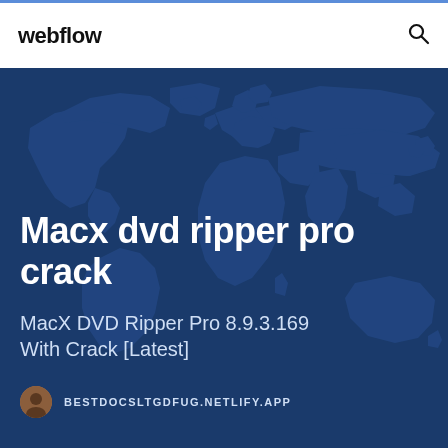webflow
[Figure (illustration): World map background illustration in dark blue tones used as hero section background]
Macx dvd ripper pro crack
MacX DVD Ripper Pro 8.9.3.169 With Crack [Latest]
BESTDOCSLTGDFUG.NETLIFY.APP